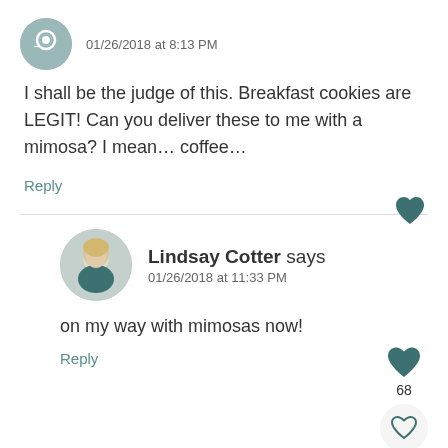01/26/2018 at 8:13 PM
I shall be the judge of this. Breakfast cookies are LEGIT! Can you deliver these to me with a mimosa? I mean… coffee…
Reply
Lindsay Cotter says
01/26/2018 at 11:33 PM
on my way with mimosas now!
Reply
Mary Ann | The Beach House Kitchen